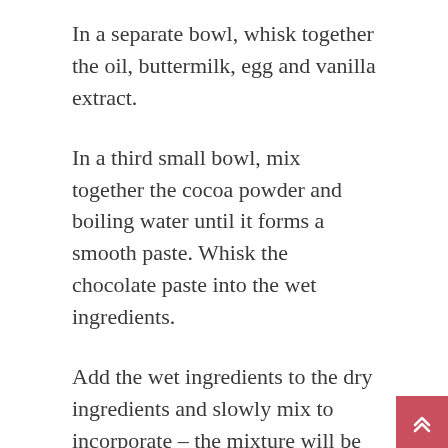In a separate bowl, whisk together the oil, buttermilk, egg and vanilla extract.
In a third small bowl, mix together the cocoa powder and boiling water until it forms a smooth paste. Whisk the chocolate paste into the wet ingredients.
Add the wet ingredients to the dry ingredients and slowly mix to incorporate – the mixture will be very runny. Evenly fill each paper case with the batter, filling each one no more than two-thirds full.
Bake for 15-20 minutes until the cakes spring